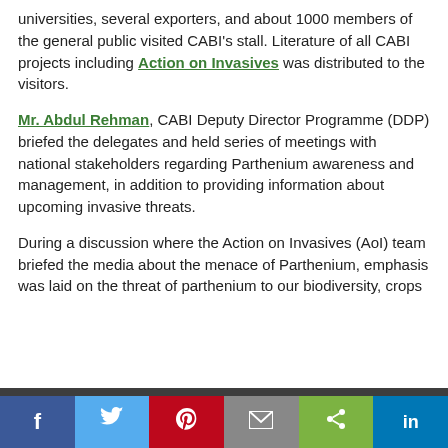universities, several exporters, and about 1000 members of the general public visited CABI's stall. Literature of all CABI projects including Action on Invasives was distributed to the visitors.
Mr. Abdul Rehman, CABI Deputy Director Programme (DDP) briefed the delegates and held series of meetings with national stakeholders regarding Parthenium awareness and management, in addition to providing information about upcoming invasive threats.
During a discussion where the Action on Invasives (AoI) team briefed the media about the menace of Parthenium, emphasis was laid on the threat of parthenium to our biodiversity, crops
Like most websites we use cookies. This is to ensure that we give you the best experience possible. Continuing to use CABI Blog means you agree to our use of cookies. If you would like to, you can learn more about the cookies we use here.